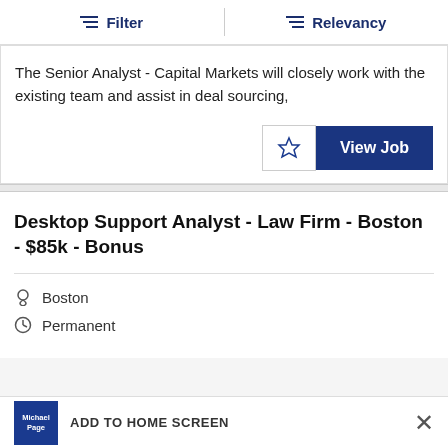Filter  Relevancy
The Senior Analyst - Capital Markets will closely work with the existing team and assist in deal sourcing,
View Job
Desktop Support Analyst - Law Firm - Boston - $85k - Bonus
Boston
Permanent
ADD TO HOME SCREEN